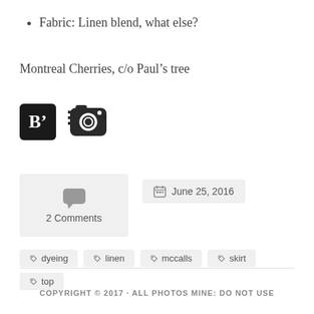Fabric: Linen blend, what else?
Montreal Cherries, c/o Paul’s tree
[Figure (logo): Two social media icons: a black square B' bloglovin icon and a dark Instagram camera icon]
[Figure (infographic): 2 Comments box with speech bubble icon, and June 25, 2016 date badge with calendar icon]
dyeing
linen
mccalls
skirt
top
COPYRIGHT © 2017 · ALL PHOTOS MINE: DO NOT USE